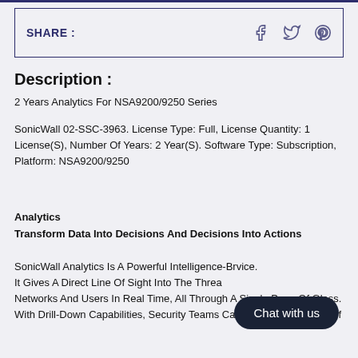SHARE :
Description :
2 Years Analytics For NSA9200/9250 Series
SonicWall 02-SSC-3963. License Type: Full, License Quantity: 1 License(S), Number Of Years: 2 Year(S). Software Type: Subscription, Platform: NSA9200/9250
Analytics
Transform Data Into Decisions And Decisions Into Actions
SonicWall Analytics Is A Powerful Intelligence-[...] Service. It Gives A Direct Line Of Sight Into The Threat [...] Networks And Users In Real Time, All Through A Single Pane Of Glass. With Drill-Down Capabilities, Security Teams Can Mine Various Sets Of